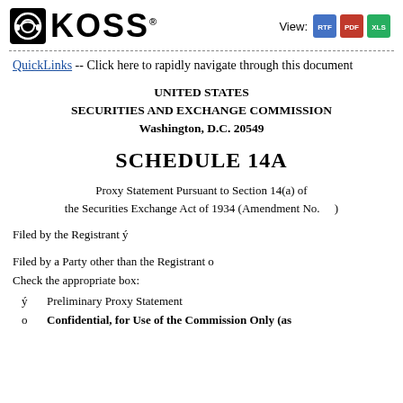[Figure (logo): Koss Corporation logo with headphone icon and KOSS text in bold, alongside View RTF, PDF, XLS icons]
QuickLinks -- Click here to rapidly navigate through this document
UNITED STATES SECURITIES AND EXCHANGE COMMISSION Washington, D.C. 20549
SCHEDULE 14A
Proxy Statement Pursuant to Section 14(a) of the Securities Exchange Act of 1934 (Amendment No.    )
Filed by the Registrant ý
Filed by a Party other than the Registrant o
Check the appropriate box:
ý    Preliminary Proxy Statement
o    Confidential, for Use of the Commission Only (as